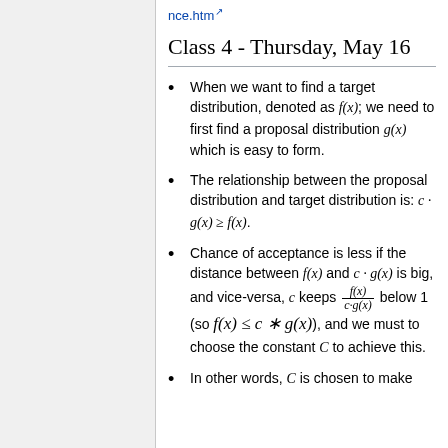nce.htm
Class 4 - Thursday, May 16
When we want to find a target distribution, denoted as f(x); we need to first find a proposal distribution g(x) which is easy to form.
The relationship between the proposal distribution and target distribution is: c · g(x) ≥ f(x).
Chance of acceptance is less if the distance between f(x) and c · g(x) is big, and vice-versa, c keeps f(x)/(c·g(x)) below 1 (so f(x) ≤ c * g(x)), and we must to choose the constant C to achieve this.
In other words, C is chosen to make